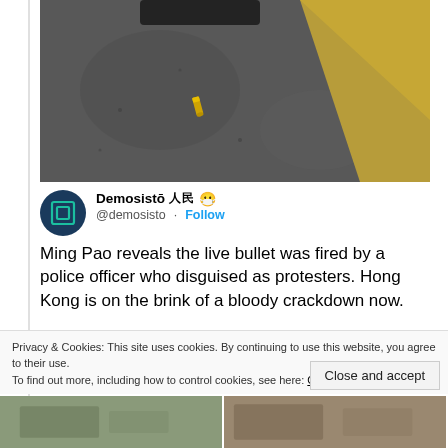[Figure (photo): Close-up photo of asphalt/pavement with a bullet casing visible on the ground and a yellow painted curb edge in the upper right.]
Demosistō 人民 😷 @demosisto · Follow
Ming Pao reveals the live bullet was fired by a police officer who disguised as protesters. Hong Kong is on the brink of a bloody crackdown now.
Privacy & Cookies: This site uses cookies. By continuing to use this website, you agree to their use.
To find out more, including how to control cookies, see here: Cookie Policy
Close and accept
[Figure (photo): Two small thumbnail photos at the bottom of the page showing street/protest scenes.]